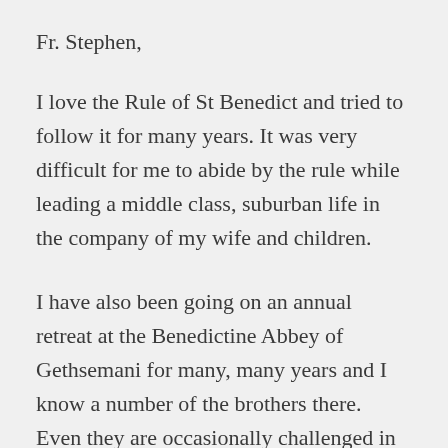Fr. Stephen,
I love the Rule of St Benedict and tried to follow it for many years. It was very difficult for me to abide by the rule while leading a middle class, suburban life in the company of my wife and children.
I have also been going on an annual retreat at the Benedictine Abbey of Gethsemani for many, many years and I know a number of the brothers there. Even they are occasionally challenged in their efforts to comply with the Rule! And they live within a few hundred feet of their church in an intentional community that shares their spiritual values. All of which is to say that it is